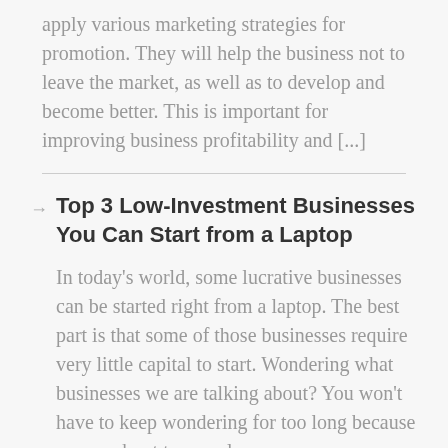apply various marketing strategies for promotion. They will help the business not to leave the market, as well as to develop and become better. This is important for improving business profitability and [...]
Top 3 Low-Investment Businesses You Can Start from a Laptop
In today's world, some lucrative businesses can be started right from a laptop. The best part is that some of those businesses require very little capital to start. Wondering what businesses we are talking about? You won't have to keep wondering for too long because we are about to reveal